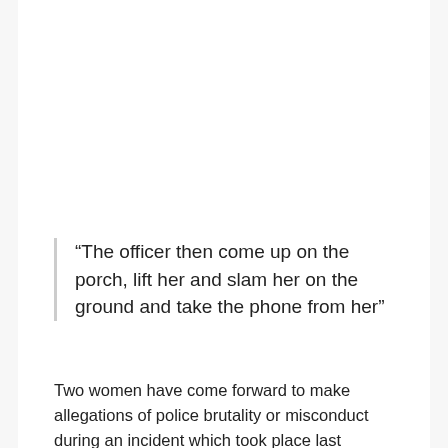“The officer then come up on the porch, lift her and slam her on the ground and take the phone from her”
Two women have come forward to make allegations of police brutality or misconduct during an incident which took place last Friday, May 28th, at their